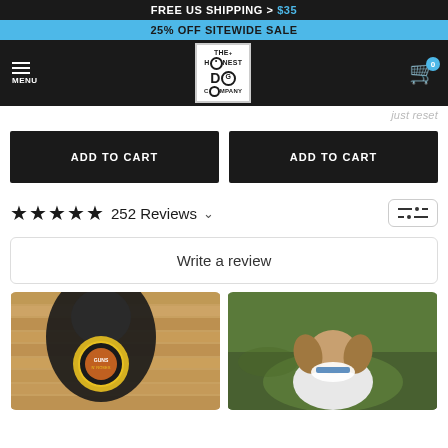FREE US SHIPPING > $35
25% OFF SITEWIDE SALE
[Figure (logo): The Honest Dog Company logo — black and white box with stylized text]
ADD TO CART (left button)
ADD TO CART (right button)
★★★★★ 252 Reviews ∨
Write a review
[Figure (photo): Dog wearing a Guns N' Roses hoodie on a wooden floor]
[Figure (photo): Small dog wearing a white hoodie seen from behind on grass]